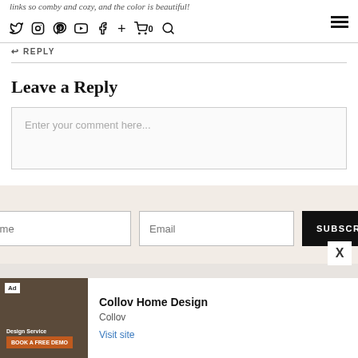links so comfy and cozy, and the color is beautiful!
REPLY
Leave a Reply
Enter your comment here...
Name | Email | SUBSCRIBE
X
Ad Collov Home Design
Collov
Visit site